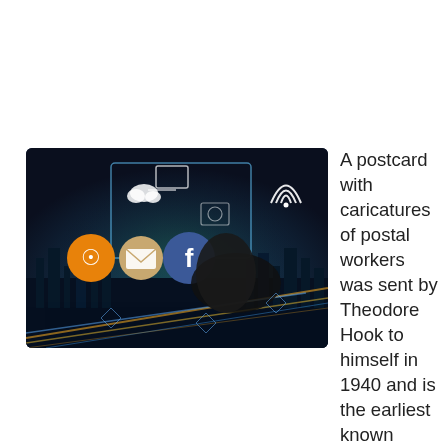[Figure (photo): A hand pointing at floating digital/social media icons (RSS, email, Facebook, WiFi, laptop, camera icons) over a glowing night cityscape with light trails]
A postcard with caricatures of postal workers was sent by Theodore Hook to himself in 1940 and is the earliest known picture postcard. Direct marketing usually requires customers to call a phone number or visit a website. The 1 800 toll free number and the magazine subscription card were both